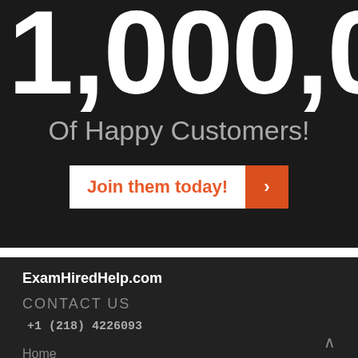1,000,00
Of Happy Customers!
Join them today! >
ExamHiredHelp.com
CONTACT US
+1 (218) 4226093
Home